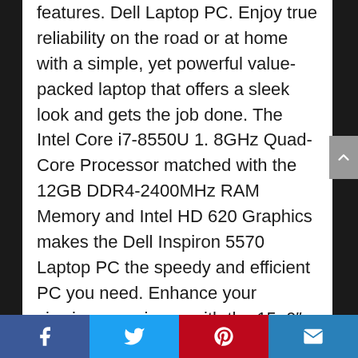features. Dell Laptop PC. Enjoy true reliability on the road or at home with a simple, yet powerful value-packed laptop that offers a sleek look and gets the job done. The Intel Core i7-8550U 1. 8GHz Quad-Core Processor matched with the 12GB DDR4-2400MHz RAM Memory and Intel HD 620 Graphics makes the Dell Inspiron 5570 Laptop PC the speedy and efficient PC you need. Enhance your viewing experience with the 15. 6″ FHD TrueLife LED-Backlit Touchscreen Display (1920 x 1080). Utilize a variety of built-in features such as a DVDRW Drive and 720p HD Webcam, as well as Bluetooth 4. 1 and Dual-Band Wi-Fi connectivity. The 1TB 5400 rpm Hard Disk Drive provides ample space to
Facebook | Twitter | Pinterest | Email